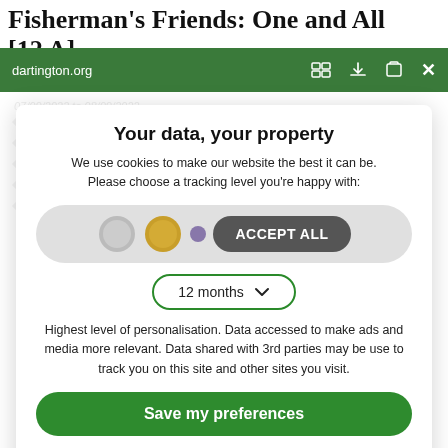Fisherman's Friends: One and All [12A]
dartington.org
Your data, your property
We use cookies to make our website the best it can be. Please choose a tracking level you're happy with:
ACCEPT ALL
12 months
Highest level of personalisation. Data accessed to make ads and media more relevant. Data shared with 3rd parties may be use to track you on this site and other sites you visit.
Save my preferences
Customize
Privacy policy